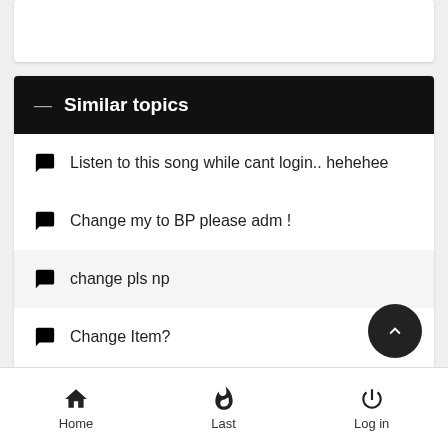Similar topics
Listen to this song while cant login.. hehehee
Change my to BP please adm !
change pls np
Change Item?
change nps for item
Home  Last  Log in